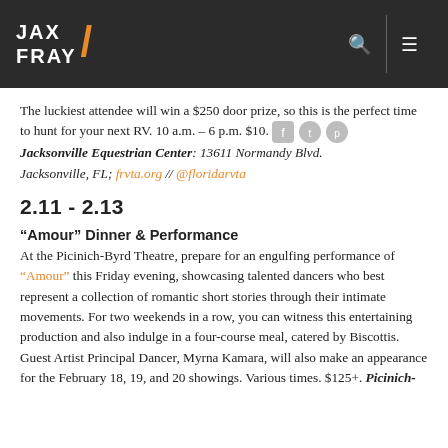JAX FRAY
The luckiest attendee will win a $250 door prize, so this is the perfect time to hunt for your next RV. 10 a.m. – 6 p.m. $10. Jacksonville Equestrian Center: 13611 Normandy Blvd. Jacksonville, FL; frvta.org // @floridarvta
2.11 - 2.13
“Amour” Dinner & Performance
At the Picinich-Byrd Theatre, prepare for an engulfing performance of “Amour” this Friday evening, showcasing talented dancers who best represent a collection of romantic short stories through their intimate movements. For two weekends in a row, you can witness this entertaining production and also indulge in a four-course meal, catered by Biscottis. Guest Artist Principal Dancer, Myrna Kamara, will also make an appearance for the February 18, 19, and 20 showings. Various times. $125+. Picinich-